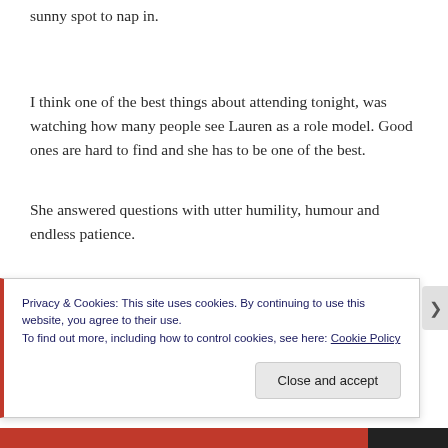sunny spot to nap in.
I think one of the best things about attending tonight, was watching how many people see Lauren as a role model. Good ones are hard to find and she has to be one of the best.
She answered questions with utter humility, humour and endless patience.
No-one deserves her success more.
Privacy & Cookies: This site uses cookies. By continuing to use this website, you agree to their use.
To find out more, including how to control cookies, see here: Cookie Policy